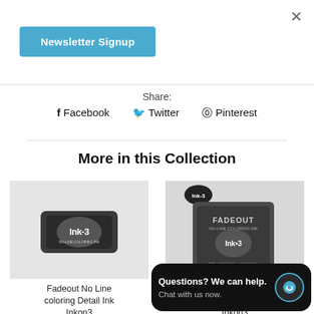×
Newsletter Signup
Share:
f Facebook  🐦 Twitter  ⊕ Pinterest
More in this Collection
[Figure (photo): Fadeout No Line coloring Detail Ink pad from Inkon3 — dark gray ink pad with Ink-3 logo]
Fadeout No Line coloring Detail Ink Inkon3
[Figure (photo): Fadeout No Line coloring ink cube from Inkon3 — dark gray cube-sized ink pad with Ink-3 logo and text THE ORIGINAL, MAGICAL NO-LINE COLORING INK, NOW IN CUBE SIZE!]
d... Cube Inkon3
Questions? We can help. Chat with us now.